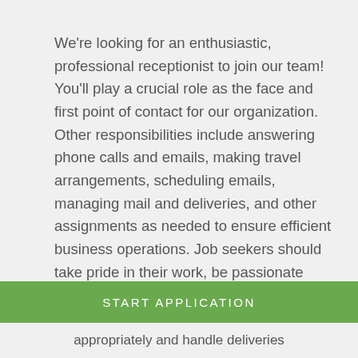We're looking for an enthusiastic, professional receptionist to join our team! You'll play a crucial role as the face and first point of contact for our organization. Other responsibilities include answering phone calls and emails, making travel arrangements, scheduling emails, managing mail and deliveries, and other assignments as needed to ensure efficient business operations. Job seekers should take pride in their work, be passionate about helping others, and have an interest in growing with our organization. If this sounds like you, apply now!
Responsibilities
START APPLICATION
appropriately and handle deliveries